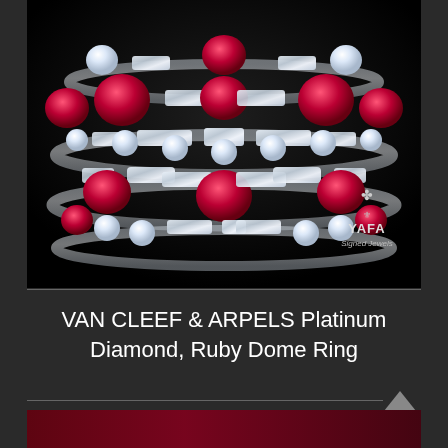[Figure (photo): Close-up photograph of a Van Cleef & Arpels platinum dome ring featuring alternating round rubies and baguette diamonds arranged in concentric rows, on black background with YAFA Signed Jewels watermark logo in bottom right corner.]
VAN CLEEF & ARPELS Platinum Diamond, Ruby Dome Ring